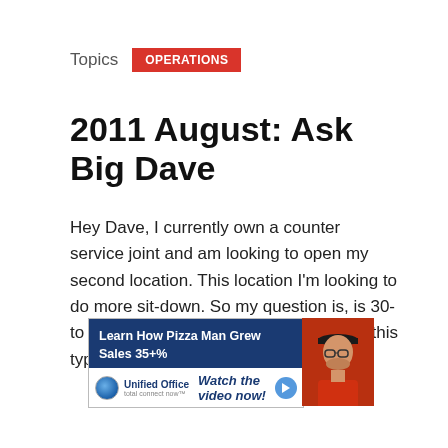Topics  OPERATIONS
2011 August: Ask Big Dave
Hey Dave, I currently own a counter service joint and am looking to open my second location. This location I'm looking to do more sit-down. So my question is, is 30- to 35- percent labor cost reasonable for this type of restaurant? Ryan Olson M...
[Figure (screenshot): Advertisement banner for Unified Office showing 'Learn How Pizza Man Grew Sales 35+%' with 'Watch the video now!' call to action and a photo of a man in a cap]